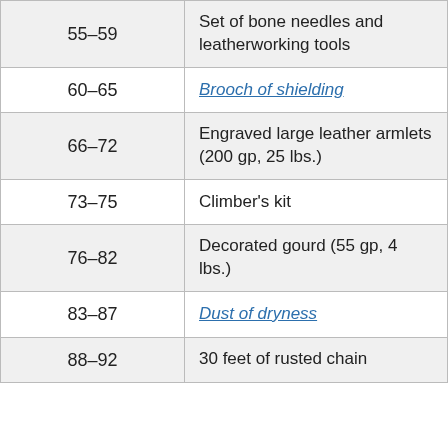| Roll | Item |
| --- | --- |
| 55–59 | Set of bone needles and leatherworking tools |
| 60–65 | Brooch of shielding |
| 66–72 | Engraved large leather armlets (200 gp, 25 lbs.) |
| 73–75 | Climber's kit |
| 76–82 | Decorated gourd (55 gp, 4 lbs.) |
| 83–87 | Dust of dryness |
| 88–92 | 30 feet of rusted chain |